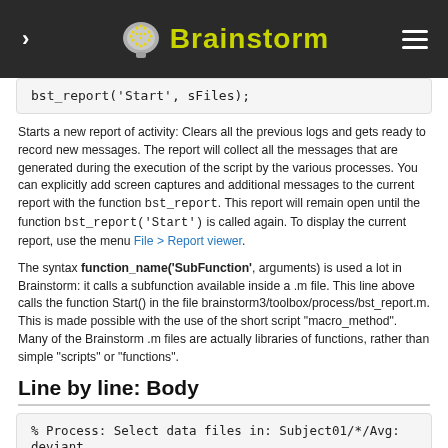Brainstorm (navigation bar)
Starts a new report of activity: Clears all the previous logs and gets ready to record new messages. The report will collect all the messages that are generated during the execution of the script by the various processes. You can explicitly add screen captures and additional messages to the current report with the function bst_report. This report will remain open until the function bst_report('Start') is called again. To display the current report, use the menu File > Report viewer.
The syntax function_name('SubFunction', arguments) is used a lot in Brainstorm: it calls a subfunction available inside a .m file. This line above calls the function Start() in the file brainstorm3/toolbox/process/bst_report.m. This is made possible with the use of the short script "macro_method". Many of the Brainstorm .m files are actually libraries of functions, rather than simple "scripts" or "functions".
Line by line: Body